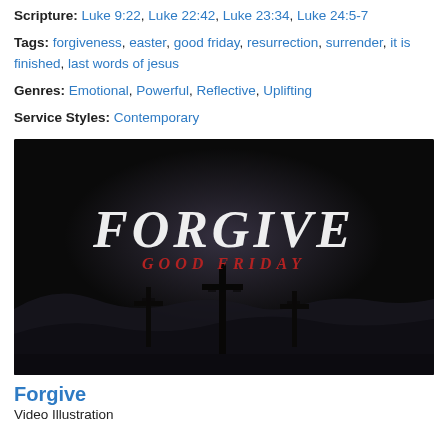Scripture: Luke 9:22, Luke 22:42, Luke 23:34, Luke 24:5-7
Tags: forgiveness, easter, good friday, resurrection, surrender, it is finished, last words of jesus
Genres: Emotional, Powerful, Reflective, Uplifting
Service Styles: Contemporary
[Figure (illustration): Dark cinematic image with large white italic serif text 'FORGIVE' and red text 'GOOD FRIDAY' below it, with three crosses silhouetted against a dark misty sky and rolling hills.]
Forgive
Video Illustration